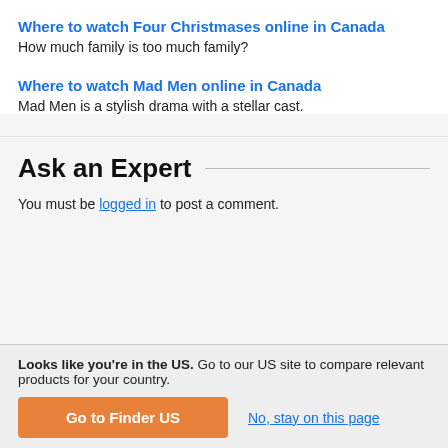Where to watch Four Christmases online in Canada
How much family is too much family?
Where to watch Mad Men online in Canada
Mad Men is a stylish drama with a stellar cast.
Ask an Expert
You must be logged in to post a comment.
Looks like you're in the US. Go to our US site to compare relevant products for your country.
Go to Finder US
No, stay on this page